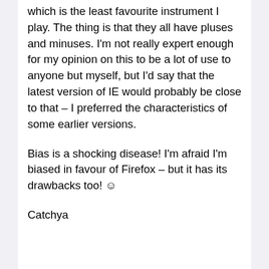which is the least favourite instrument I play. The thing is that they all have pluses and minuses. I'm not really expert enough for my opinion on this to be a lot of use to anyone but myself, but I'd say that the latest version of IE would probably be close to that – I preferred the characteristics of some earlier versions.
Bias is a shocking disease! I'm afraid I'm biased in favour of Firefox – but it has its drawbacks too! ☺
Catchya